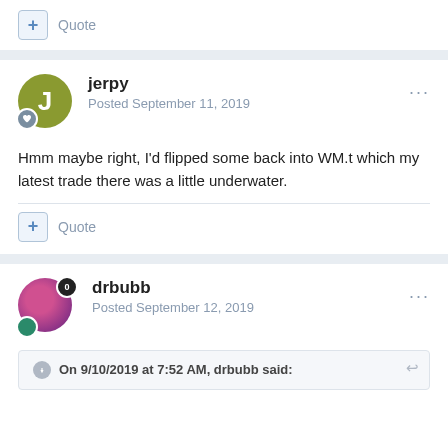Quote
jerpy
Posted September 11, 2019
Hmm maybe right, I'd flipped some back into WM.t which my latest trade there was a little underwater.
Quote
drbubb
Posted September 12, 2019
On 9/10/2019 at 7:52 AM, drbubb said: